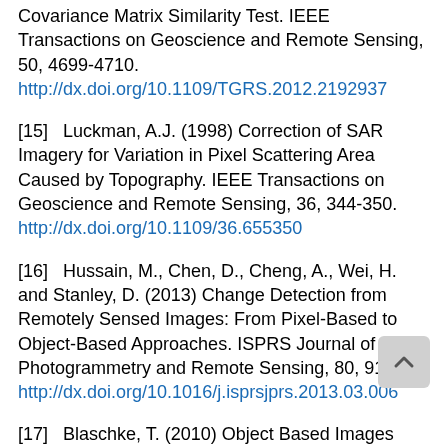Covariance Matrix Similarity Test. IEEE Transactions on Geoscience and Remote Sensing, 50, 4699-4710. http://dx.doi.org/10.1109/TGRS.2012.2192937
[15]   Luckman, A.J. (1998) Correction of SAR Imagery for Variation in Pixel Scattering Area Caused by Topography. IEEE Transactions on Geoscience and Remote Sensing, 36, 344-350. http://dx.doi.org/10.1109/36.655350
[16]   Hussain, M., Chen, D., Cheng, A., Wei, H. and Stanley, D. (2013) Change Detection from Remotely Sensed Images: From Pixel-Based to Object-Based Approaches. ISPRS Journal of Photogrammetry and Remote Sensing, 80, 91-106. http://dx.doi.org/10.1016/j.isprsjprs.2013.03.006
[17]   Blaschke, T. (2010) Object Based Images Analysis for Remote Sensing. ISPRS Journal of Photogrammetry and Remote Sensing, 65, 2-16. http://dx.doi.org/10.1016/j.isprsjprs.2009.06.004